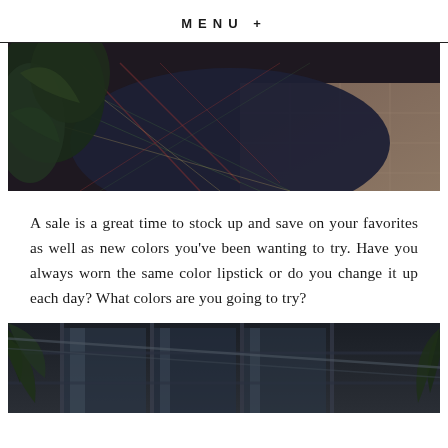MENU +
[Figure (photo): Close-up photo of a dark plaid skirt or fabric draped over tiled floor, with greenery visible on the left.]
A sale is a great time to stock up and save on your favorites as well as new colors you've been wanting to try. Have you always worn the same color lipstick or do you change it up each day? What colors are you going to try?
[Figure (photo): Dark moody photo of a building exterior with glass and palm fronds visible, taken from a low angle.]